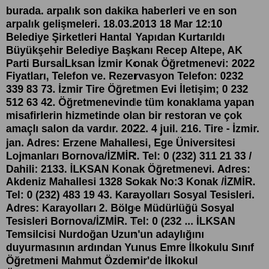burada. arpalık son dakika haberleri ve en son arpalık gelişmeleri. 18.03.2013 18 Mar 12:10 Belediye Şirketleri Hantal Yapıdan Kurtarıldı Büyükşehir Belediye Başkanı Recep Altepe, AK Parti BursaİLksan İzmir Konak Öğretmenevi: 2022 Fiyatları, Telefon ve. Rezervasyon Telefon: 0232 339 83 73. İzmir Tire Öğretmen Evi İletişim; 0 232 512 63 42. Öğretmenevinde tüm konaklama yapan misafirlerin hizmetinde olan bir restoran ve çok amaçlı salon da vardır. 2022. 4 juil. 216. Tire - İzmir. jan. Adres: Erzene Mahallesi, Ege Üniversitesi Lojmanları Bornova/İZMİR. Tel: 0 (232) 311 21 33 / Dahili: 2133. İLKSAN Konak Öğretmenevi. Adres: Akdeniz Mahallesi 1328 Sokak No:3 Konak /İZMİR. Tel: 0 (232) 483 19 43. Karayolları Sosyal Tesisleri. Adres: Karayolları 2. Bölge Müdürlüğü Sosyal Tesisleri Bornova/İZMİR. Tel: 0 (232 ... İLKSAN Temsilcisi Nurdoğan Uzun'un adaylığını duyurmasının ardından Yunus Emre İlkokulu Sınıf Öğretmeni Mahmut Özdemir'de İlkokul Öğretmenleri Sağlık ve